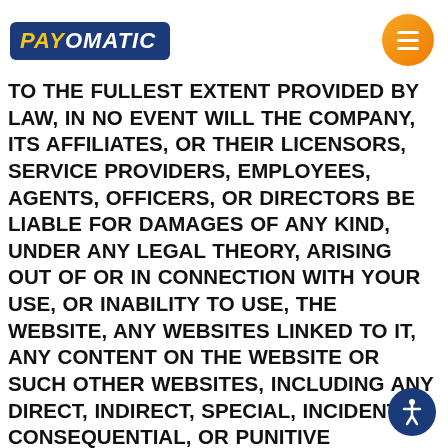PAYOMATIC
TO THE FULLEST EXTENT PROVIDED BY LAW, IN NO EVENT WILL THE COMPANY, ITS AFFILIATES, OR THEIR LICENSORS, SERVICE PROVIDERS, EMPLOYEES, AGENTS, OFFICERS, OR DIRECTORS BE LIABLE FOR DAMAGES OF ANY KIND, UNDER ANY LEGAL THEORY, ARISING OUT OF OR IN CONNECTION WITH YOUR USE, OR INABILITY TO USE, THE WEBSITE, ANY WEBSITES LINKED TO IT, ANY CONTENT ON THE WEBSITE OR SUCH OTHER WEBSITES, INCLUDING ANY DIRECT, INDIRECT, SPECIAL, INCIDENTAL, CONSEQUENTIAL, OR PUNITIVE DAMAGES, INCLUDING BUT NOT LIMITED TO, PERSONAL INJURY, PAIN AND SUFFERING, EMOTIONAL DISTRESS, LOSS OF REVENUE, LOSS OF PROFITS, LOSS OF BUSINESS OR ANTICIPATED SAVINGS, LOSS OF USE, LOSS OF GOODWILL, LOSS OF DATA, AND WHETHER CAUSED BY TORT